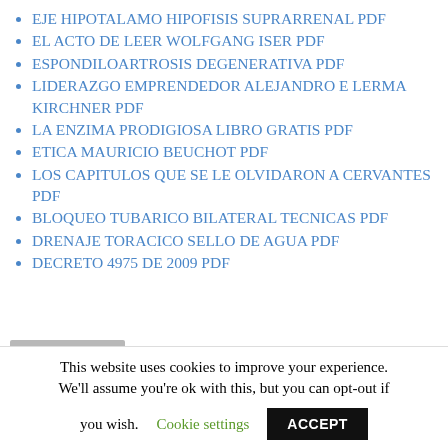EJE HIPOTALAMO HIPOFISIS SUPRARRENAL PDF
EL ACTO DE LEER WOLFGANG ISER PDF
ESPONDILOARTROSIS DEGENERATIVA PDF
LIDERAZGO EMPRENDEDOR ALEJANDRO E LERMA KIRCHNER PDF
LA ENZIMA PRODIGIOSA LIBRO GRATIS PDF
ETICA MAURICIO BEUCHOT PDF
LOS CAPITULOS QUE SE LE OLVIDARON A CERVANTES PDF
BLOQUEO TUBARICO BILATERAL TECNICAS PDF
DRENAJE TORACICO SELLO DE AGUA PDF
DECRETO 4975 DE 2009 PDF
[Figure (photo): User avatar placeholder: grey square with light grey circle in center]
This website uses cookies to improve your experience. We'll assume you're ok with this, but you can opt-out if you wish. Cookie settings ACCEPT